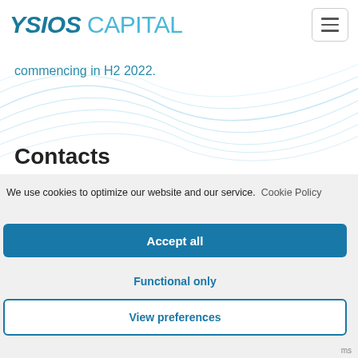[Figure (logo): Ysios Capital logo with stylized text]
commencing in H2 2022.
Contacts
We use cookies to optimize our website and our service.  Cookie Policy
Accept all
Functional only
View preferences